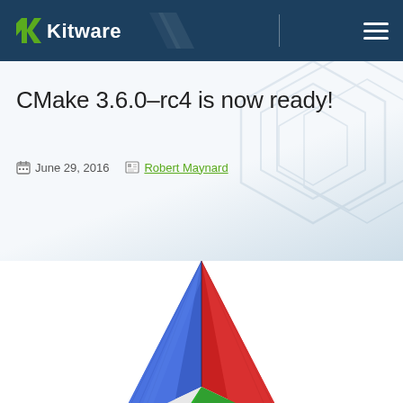Kitware
CMake 3.6.0-rc4 is now ready!
June 29, 2016   Robert Maynard
[Figure (logo): CMake 3D pyramid logo with blue, red, white and green colored faces on white background]